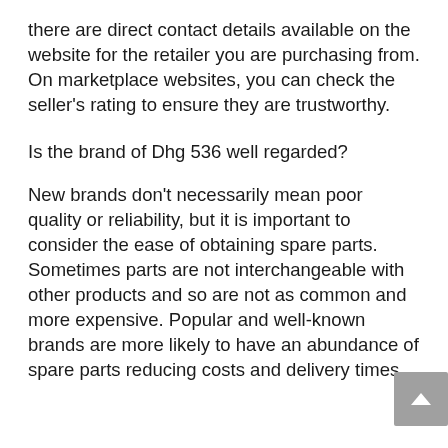there are direct contact details available on the website for the retailer you are purchasing from. On marketplace websites, you can check the seller's rating to ensure they are trustworthy.
Is the brand of Dhg 536 well regarded?
New brands don't necessarily mean poor quality or reliability, but it is important to consider the ease of obtaining spare parts. Sometimes parts are not interchangeable with other products and so are not as common and more expensive. Popular and well-known brands are more likely to have an abundance of spare parts reducing costs and delivery times.